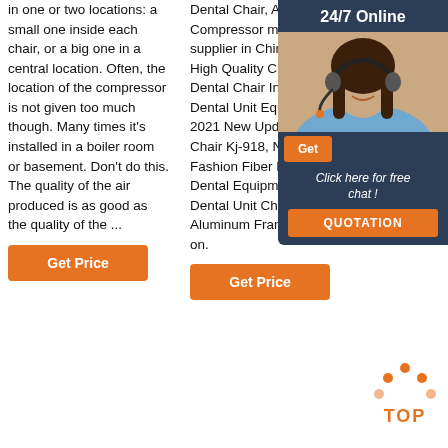in one or two locations: a small one inside each chair, or a big one in a central location. Often, the location of the compressor is not given too much though. Many times it's installed in a boiler room or basement. Don't do this. The quality of the air produced is as good as the quality of the ...
Get Price
Dental Chair, Air Compressor manufacturer supplier in China, offering High Quality CE Approved Dental Chair Integral Dental Unit Equipment, 2021 New Update Dental Chair Kj-918, New Fashion Fiber Leather Dental Equipment Chair Dental Unit Chair Aluminum Frame and so on.
Get Price
Dental Product Shopper delivers practical, unbiased product information. Our peer to... product... help yo... the be... for you...
[Figure (screenshot): Chat widget with 24/7 Online header, photo of woman with headset, Get button, 'Click here for free chat!' text, and QUOTATION button]
[Figure (infographic): TOP icon with orange dots and text]